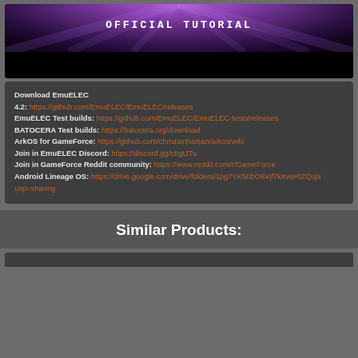[Figure (screenshot): Top banner area with purple/magenta radial gradient background and white pixel-font text 'OFFICIAL TUTORIAL', followed by a black bar below]
Download EmuELEC
4.2: https://github.com/EmuELEC/EmuELEC/releases
EmuELEC Test builds: https://github.com/EmuELEC/EmuELEC-tests/releases
BATOCERA Test builds: https://batocera.org/download
ArkOS for GameForce: https://github.com/christianhaitian/arkos/wiki
Join in EmuELEC Discord: https://discord.gg/cbgtJTu
Join in GameForce Reddit community: https://www.reddit.com/r/GameForce
Android Lineage OS: https://drive.google.com/drive/folders/1pg7YK50bO6Vjf7kItveHtZQuj...usp=sharing
Similar Products:
[Figure (screenshot): Bottom partial gray card/product area at the very bottom of the page]